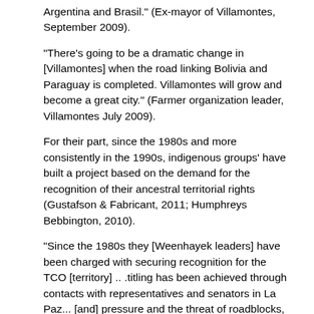Argentina and Brasil." (Ex-mayor of Villamontes, September 2009).
"There's going to be a dramatic change in [Villamontes] when the road linking Bolivia and Paraguay is completed. Villamontes will grow and become a great city." (Farmer organization leader, Villamontes July 2009).
For their part, since the 1980s and more consistently in the 1990s, indigenous groups' have built a project based on the demand for the recognition of their ancestral territorial rights (Gustafson & Fabricant, 2011; Humphreys Bebbington, 2010).
"Since the 1980s they [Weenhayek leaders] have been charged with securing recognition for the TCO [territory] .. .titling has been achieved through contacts with representatives and senators in La Paz... [and] pressure and the threat of roadblocks, now only four communities remain to be titled" (Weenhayek leader, September 2009).
These indigenous territorial projects have also been